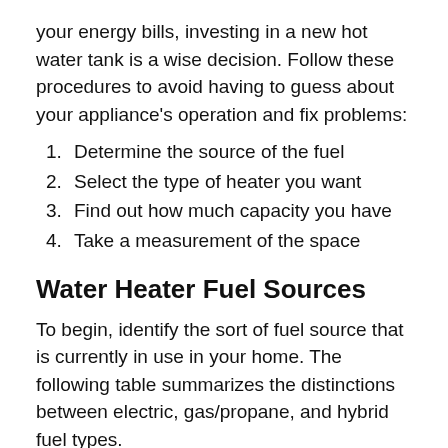your energy bills, investing in a new hot water tank is a wise decision. Follow these procedures to avoid having to guess about your appliance's operation and fix problems:
1. Determine the source of the fuel
2. Select the type of heater you want
3. Find out how much capacity you have
4. Take a measurement of the space
Water Heater Fuel Sources
To begin, identify the sort of fuel source that is currently in use in your home. The following table summarizes the distinctions between electric, gas/propane, and hybrid fuel types.